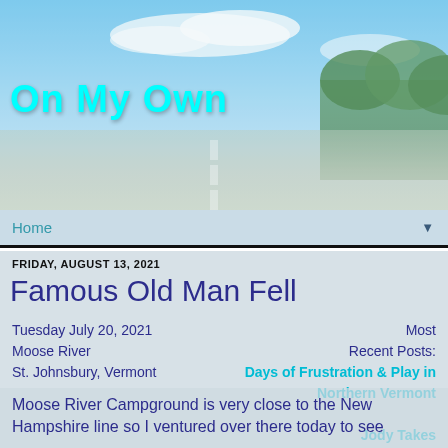[Figure (photo): Blog header with road/sky landscape background]
On My Own
Home
FRIDAY, AUGUST 13, 2021
Famous Old Man Fell
Tuesday July 20, 2021
Moose River
St. Johnsbury, Vermont
Most Recent Posts:
Days of Frustration & Play in Northern Vermont
Jody Takes Me on a Tour
Moose River Campground is very close to the New Hampshire line so I ventured over there today to see